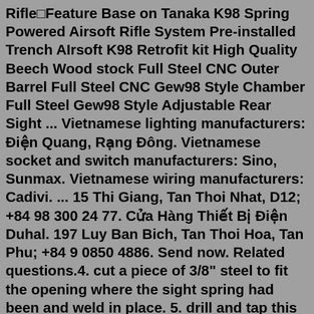Rifle Feature Base on Tanaka K98 Spring Powered Airsoft Rifle System Pre-installed Trench AIrsoft K98 Retrofit kit High Quality Beech Wood stock Full Steel CNC Outer Barrel Full Steel CNC Gew98 Style Chamber Full Steel Gew98 Style Adjustable Rear Sight ... Vietnamese lighting manufacturers: Điện Quang, Rạng Đông. Vietnamese socket and switch manufacturers: Sino, Sunmax. Vietnamese wiring manufacturers: Cadivi. ... 15 Thi Giang, Tan Thoi Nhat, D12; +84 98 300 24 77. Cửa Hàng Thiết Bị Điện Duhal. 197 Luy Ban Bich, Tan Thoi Hoa, Tan Phu; +84 9 0850 4886. Send now. Related questions.4. cut a piece of 3/8" steel to fit the opening where the sight spring had been and weld in place. 5. drill and tap this steel for a flat bottom Weaver scope mount. 6. reinstall the sight collar on the barrel where it was taken from and resolder in place. 7. a long eye relief pistol scope is now installed in a good set of scope rings.Manufacturer's Part Number 104131. The new Bifrost is made of robust fiberglass reinforced